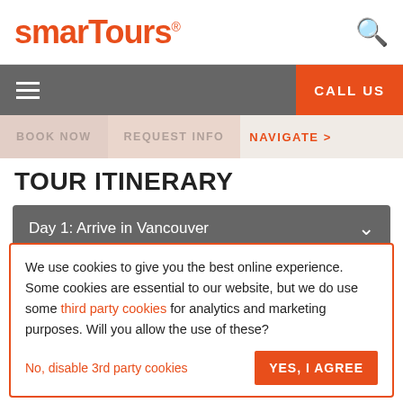smarTours®
CALL US
BOOK NOW   REQUEST INFO   NAVIGATE >
TOUR ITINERARY
Day 1: Arrive in Vancouver
[Figure (photo): Partial view of Vancouver skyline or landscape, gradient sky]
We use cookies to give you the best online experience. Some cookies are essential to our website, but we do use some third party cookies for analytics and marketing purposes. Will you allow the use of these?
No, disable 3rd party cookies   YES, I AGREE